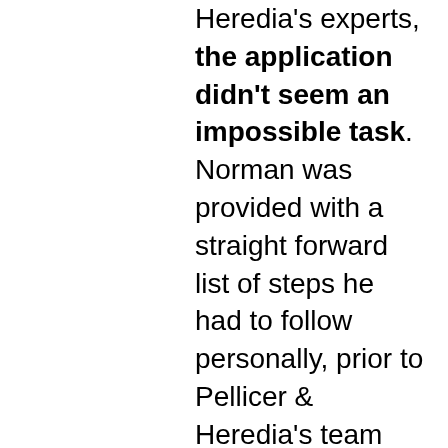Heredia's experts, the application didn't seem an impossible task. Norman was provided with a straight forward list of steps he had to follow personally, prior to Pellicer & Heredia's team starting the application process in Spain.

Norman admits that the requirements to apply for Spanish nationality can come across a lot more complex when trying to go